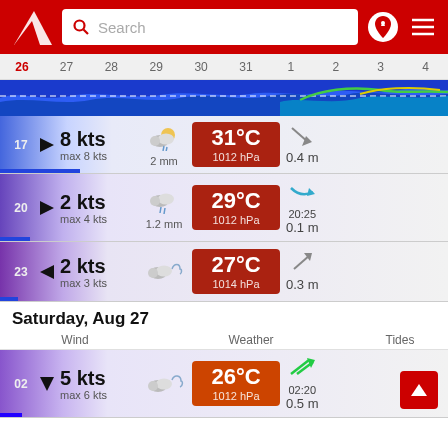[Figure (screenshot): App header with red background, logo, search bar, location pin icon, and hamburger menu]
[Figure (infographic): Date strip showing dates 26-4 with a wave/chart strip below showing wind/tide forecast graph]
17  ▶  8 kts  max 8 kts  [cloud+sun icon]  2 mm  31°C  1012 hPa  ↘  0.4 m
20  ▶  2 kts  max 4 kts  [cloud+rain icon]  1.2 mm  29°C  1012 hPa  ↘  20:25  0.1 m
23  ◀  2 kts  max 3 kts  [night cloud icon]  27°C  1014 hPa  ↗  0.3 m
Saturday, Aug 27
Wind   Weather   Tides
02  ▼  5 kts  max 6 kts  [cloud icon]  26°C  1012 hPa  ↗  02:20  0.5 m